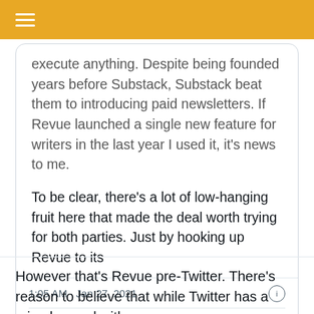execute anything. Despite being founded years before Substack, Substack beat them to introducing paid newsletters. If Revue launched a single new feature for writers in the last year I used it, it's news to me.

To be clear, there's a lot of low-hanging fruit here that made the deal worth trying for both parties. Just by hooking up Revue to its
1:05 AM · Jan 27, 2021
44  Reply  Copy link to Tweet
Read 5 replies
However that's Revue pre-Twitter. There's reason to believe that while Twitter has a mixed record with